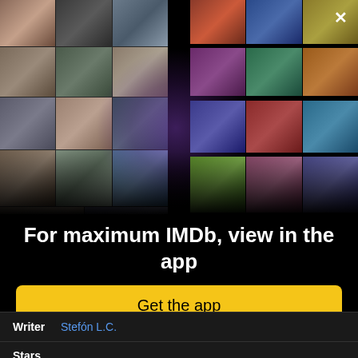[Figure (illustration): IMDb app promotional collage showing a perspective arrangement of actor photos on the left side and movie/TV posters on the right side, with a purple glow in the center, converging toward a vanishing point, on a black background. A white X close button is in the top right corner.]
For maximum IMDb, view in the app
Get the app
Writer  Stefón L.C.
Stars